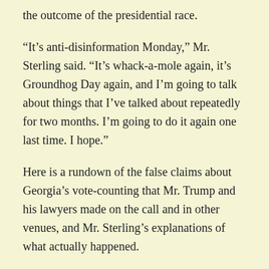the outcome of the presidential race.
“It’s anti-disinformation Monday,” Mr. Sterling said. “It’s whack-a-mole again, it’s Groundhog Day again, and I’m going to talk about things that I’ve talked about repeatedly for two months. I’m going to do it again one last time. I hope.”
Here is a rundown of the false claims about Georgia’s vote-counting that Mr. Trump and his lawyers made on the call and in other venues, and Mr. Sterling’s explanations of what actually happened.
TRUMP’S CLAIM: That, amid the disruption caused by a broken water main at a vote-counting center in Fulton County, election workers brought in “suitcases or